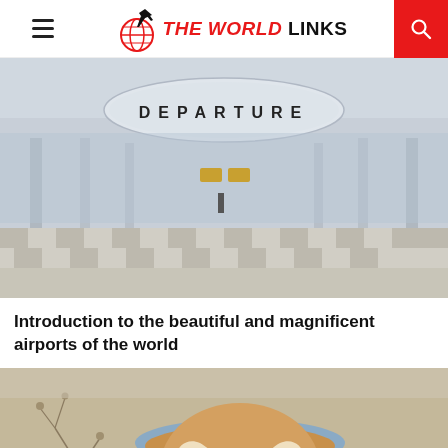THE WORLD LINKS
[Figure (photo): Airport departure hall interior with large DEPARTURE sign, glass facade, checkered tile floor, and terminal columns]
Introduction to the beautiful and magnificent airports of the world
[Figure (photo): Close-up of a latte coffee with heart-shaped latte art in a blue cup, surrounded by dried flowers]